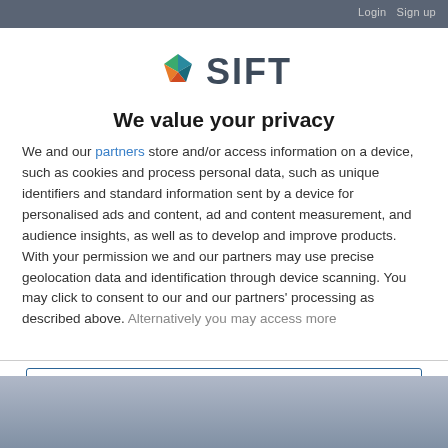Login  Sign up
[Figure (logo): SIFT logo with colorful geometric diamond shape and bold SIFT text]
We value your privacy
We and our partners store and/or access information on a device, such as cookies and process personal data, such as unique identifiers and standard information sent by a device for personalised ads and content, ad and content measurement, and audience insights, as well as to develop and improve products. With your permission we and our partners may use precise geolocation data and identification through device scanning. You may click to consent to our and our partners' processing as described above. Alternatively you may access more
AGREE
MORE OPTIONS